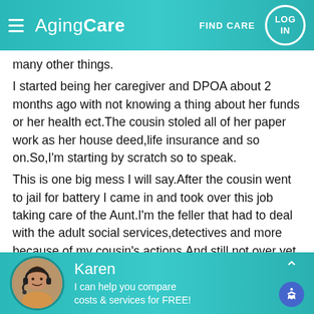AgingCare | FIND CARE | LOG IN
many other things.
I started being her caregiver and DPOA about 2 months ago with not knowing a thing about her funds or her health ect.The cousin stoled all of her paper work as her house deed,life insurance and so on.So,I'm starting by scratch so to speak.
This is one big mess I will say.After the cousin went to jail for battery I came in and took over this job taking care of the Aunt.I'm the feller that had to deal with the adult social services,detectives and more because,of my cousin's actions.And still not over yet
[Figure (photo): Chat widget with photo of Karen, a woman with a headset, on a teal background. Name: Karen. Text: I can help you compare costs & services for FREE!]